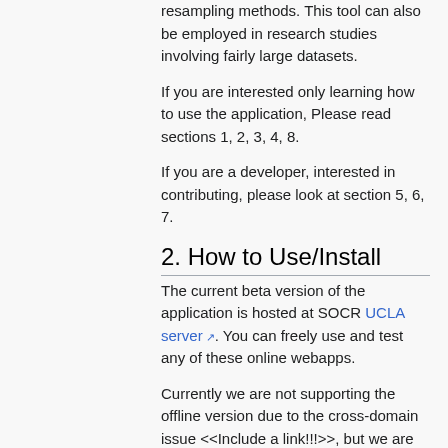resampling methods. This tool can also be employed in research studies involving fairly large datasets.
If you are interested only learning how to use the application, Please read sections 1, 2, 3, 4, 8.
If you are a developer, interested in contributing, please look at section 5, 6, 7.
2. How to Use/Install
The current beta version of the application is hosted at SOCR UCLA server. You can freely use and test any of these online webapps.
Currently we are not supporting the offline version due to the cross-domain issue <<Include a link!!!>>, but we are planning to soon release the offline version which you can download and use on your local machine.
This webapp documentation is available online. The code is well documented so the best starting point for developers will be to